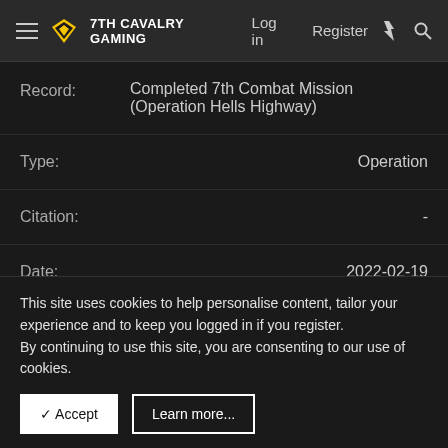7TH CAVALRY GAMING  Log in  Register
| Field | Value |
| --- | --- |
| Record: | Completed 7th Combat Mission (Operation Hells Highway) |
| Type: | Operation |
| Citation: | - |
| Date: | 2022-02-19 |
| Record: | Graduated NCOA Warrior Leadership Course Phase I |
This site uses cookies to help personalise content, tailor your experience and to keep you logged in if you register.
By continuing to use this site, you are consenting to our use of cookies.